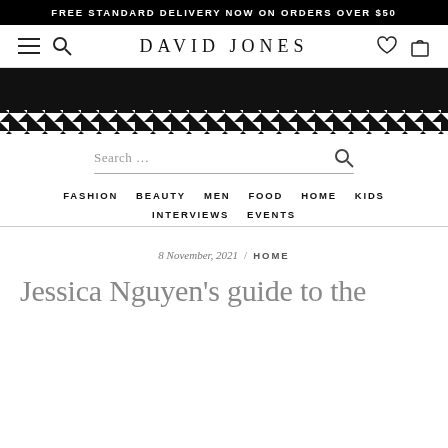FREE STANDARD DELIVERY NOW ON ORDERS OVER $50
[Figure (logo): David Jones website header with hamburger menu, search icon, DAVID JONES logo, heart icon, and shopping bag icon]
[Figure (photo): Black houndstooth pattern banner image]
Search …
FASHION  BEAUTY  MEN  FOOD  HOME  KIDS  INTERVIEWS  EVENTS
8 November, 2021 / HOME
Jessica Nguyen's guide to the